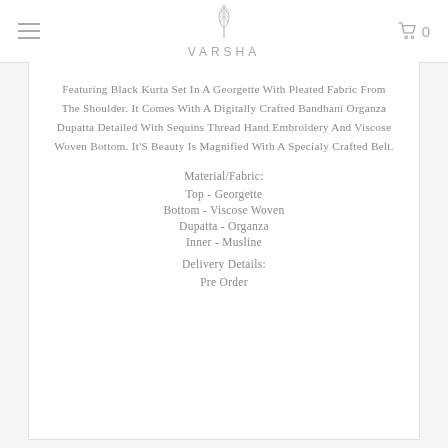VARSHA
Featuring Black Kurta Set In A Georgette With Pleated Fabric From The Shoulder. It Comes With A Digitally Crafted Bandhani Organza Dupatta Detailed With Sequins Thread Hand Embroidery And Viscose Woven Bottom. It'S Beauty Is Magnified With A Specialy Crafted Belt.
Material/Fabric:
Top - Georgette
Bottom - Viscose Woven
Dupatta - Organza
Inner - Musline
Delivery Details:
Pre Order